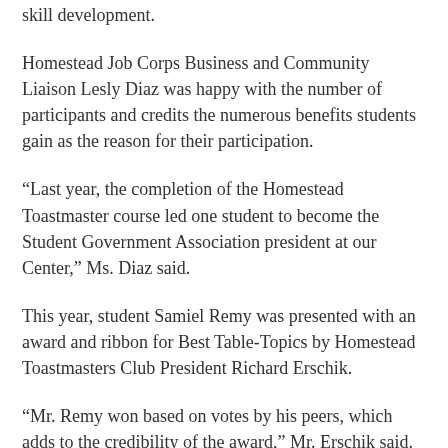skill development.
Homestead Job Corps Business and Community Liaison Lesly Diaz was happy with the number of participants and credits the numerous benefits students gain as the reason for their participation.
“Last year, the completion of the Homestead Toastmaster course led one student to become the Student Government Association president at our Center,” Ms. Diaz said.
This year, student Samiel Remy was presented with an award and ribbon for Best Table-Topics by Homestead Toastmasters Club President Richard Erschik.
“Mr. Remy won based on votes by his peers, which adds to the credibility of the award,” Mr. Erschik said.